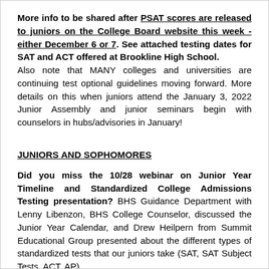More info to be shared after PSAT scores are released to juniors on the College Board website this week - either December 6 or 7. See attached testing dates for SAT and ACT offered at Brookline High School. Also note that MANY colleges and universities are continuing test optional guidelines moving forward. More details on this when juniors attend the January 3, 2022 Junior Assembly and junior seminars begin with counselors in hubs/advisories in January!
JUNIORS AND SOPHOMORES
Did you miss the 10/28 webinar on Junior Year Timeline and Standardized College Admissions Testing presentation? BHS Guidance Department with Lenny Libenzon, BHS College Counselor, discussed the Junior Year Calendar, and Drew Heilpern from Summit Educational Group presented about the different types of standardized tests that our juniors take (SAT, SAT Subject Tests, ACT, AP).